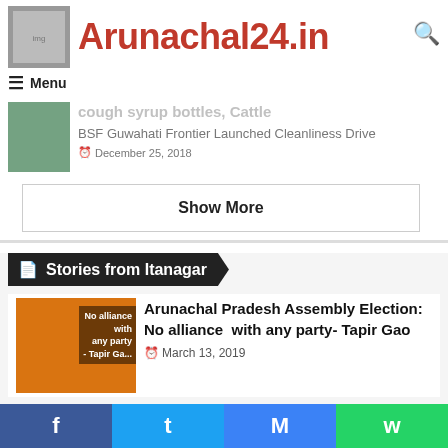Arunachal24.in
Menu
cough syrup bottles, Cattle
BSF Guwahati Frontier Launched Cleanliness Drive
December 25, 2018
Show More
Stories from Itanagar
Arunachal Pradesh Assembly Election: No alliance  with any party- Tapir Gao
March 13, 2019